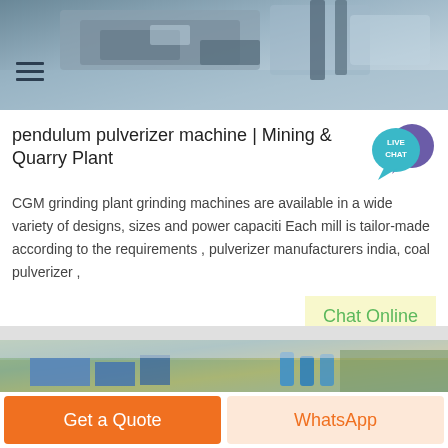[Figure (photo): Industrial machinery / mining equipment, close-up view from above with grey metallic components]
pendulum pulverizer machine | Mining & Quarry Plant
[Figure (infographic): Live Chat bubble icon in teal/cyan color with speech bubble graphic]
CGM grinding plant grinding machines are available in a wide variety of designs, sizes and power capaciti Each mill is tailor-made according to the requirements , pulverizer manufacturers india, coal pulverizer ,
Chat Online
[Figure (photo): Aerial view of industrial plant facility with blue buildings and industrial equipment surrounded by trees]
Get a Quote
WhatsApp